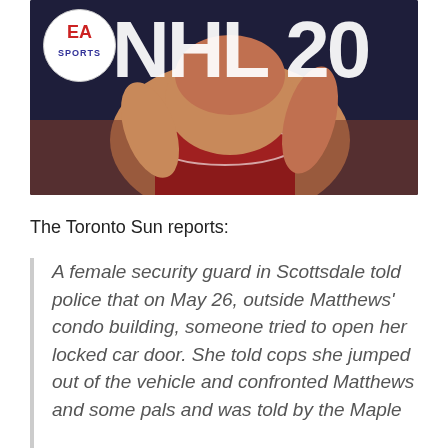[Figure (photo): EA Sports NHL 20 video game cover showing a hockey player in red shorts, with EA Sports logo in top left and 'NHL 20' text in white across the top]
The Toronto Sun reports:
A female security guard in Scottsdale told police that on May 26, outside Matthews' condo building, someone tried to open her locked car door. She told cops she jumped out of the vehicle and confronted Matthews and some pals and was told by the Maple